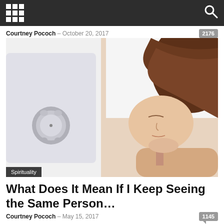Navigation bar with grid menu icon and search icon
Courtney Pococh - October 20, 2017  2176
[Figure (photo): Woman sleeping on white pillow with dark auburn hair, an alarm clock visible on the left side. Category label 'Spirituality' overlaid at bottom left.]
What Does It Mean If I Keep Seeing the Same Person…
Courtney Pococh - May 15, 2017  1145